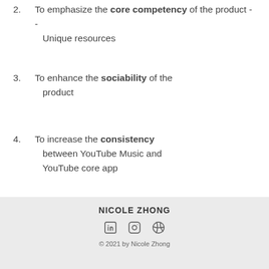2. To emphasize the core competency of the product -- Unique resources
3. To enhance the sociability of the product
4. To increase the consistency between YouTube Music and YouTube core app
Design Process
NICOLE ZHONG
© 2021 by Nicole Zhong